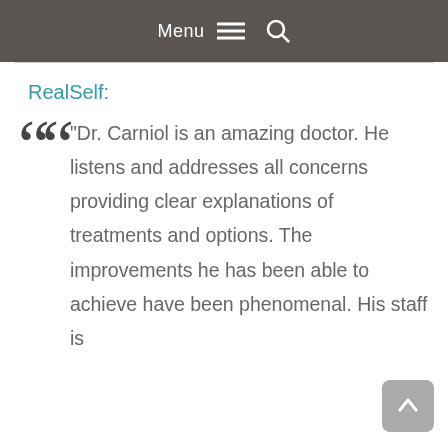Menu ☰ 🔍
RealSelf:
“Dr. Carniol is an amazing doctor. He listens and addresses all concerns providing clear explanations of treatments and options. The improvements he has been able to achieve have been phenomenal. His staff is